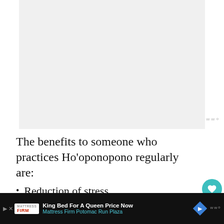[Figure (other): Light gray placeholder image area at top of page]
The benefits to someone who practices Ho’oponopono regularly are:
Reduction of stress
Improvement in physical and mental health
King Bed For A Queen Price Now Mattress Firm Potomac Run Plaza